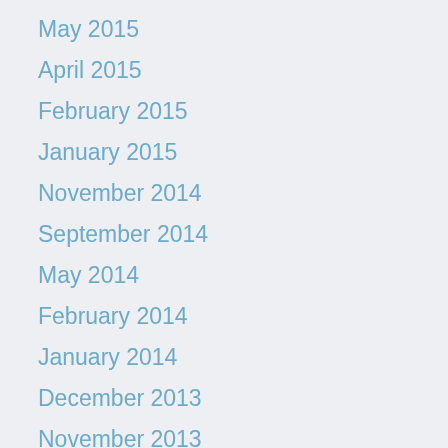May 2015
April 2015
February 2015
January 2015
November 2014
September 2014
May 2014
February 2014
January 2014
December 2013
November 2013
July 2013
June 2013